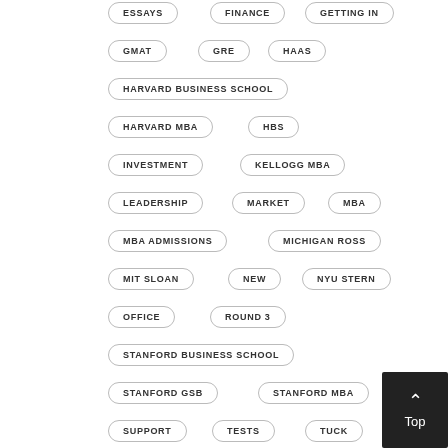ESSAYS
FINANCE
GETTING IN
GMAT
GRE
HAAS
HARVARD BUSINESS SCHOOL
HARVARD MBA
HBS
INVESTMENT
KELLOGG MBA
LEADERSHIP
MARKET
MBA
MBA ADMISSIONS
MICHIGAN ROSS
MIT SLOAN
NEW
NYU STERN
OFFICE
ROUND 3
STANFORD BUSINESS SCHOOL
STANFORD GSB
STANFORD MBA
SUPPORT
TESTS
TUCK